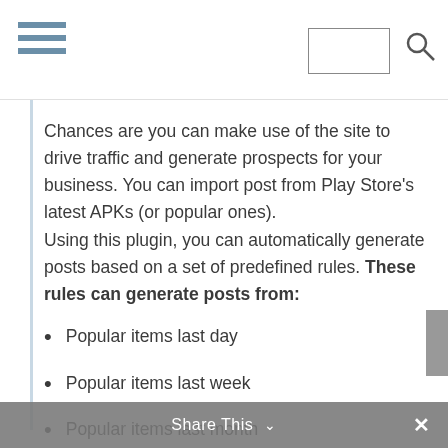[Navigation bar with hamburger menu and search box]
Chances are you can make use of the site to drive traffic and generate prospects for your business. You can import post from Play Store's latest APKs (or popular ones). Using this plugin, you can automatically generate posts based on a set of predefined rules. These rules can generate posts from:
Popular items last day
Popular items last week
Popular items last month
Latest APKs
APKs appearing on a specific page on